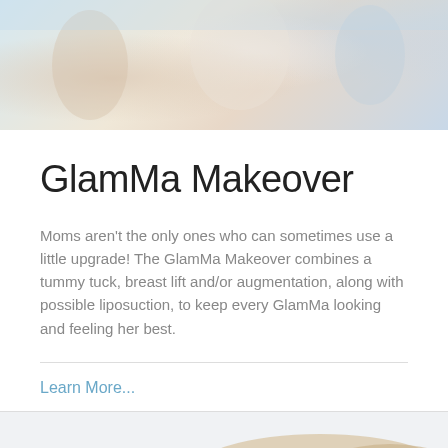[Figure (photo): Photo of women at the beach or outdoor setting, light and airy tones]
GlamMa Makeover
Moms aren’t the only ones who can sometimes use a little upgrade! The GlamMa Makeover combines a tummy tuck, breast lift and/or augmentation, along with possible liposuction, to keep every GlamMa looking and feeling her best.
Learn More...
[Figure (photo): Partial photo at bottom of page, warm tones suggesting outdoor/beach setting]